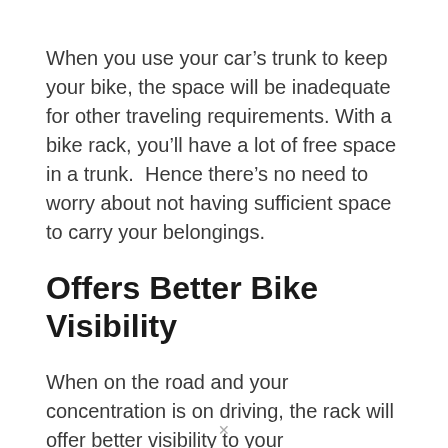When you use your car's trunk to keep your bike, the space will be inadequate for other traveling requirements. With a bike rack, you'll have a lot of free space in a trunk.  Hence there's no need to worry about not having sufficient space to carry your belongings.
Offers Better Bike Visibility
When on the road and your concentration is on driving, the rack will offer better visibility to your